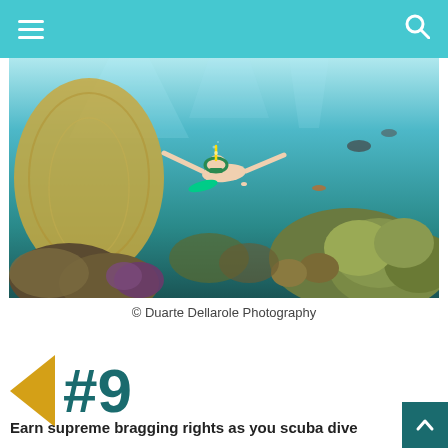Navigation header with hamburger menu and search icon
[Figure (photo): Underwater photo of a snorkeler swimming above a colorful coral reef with tropical fish and sea fans in clear blue water]
© Duarte Dellarole Photography
#9
Earn supreme bragging rights as you scuba dive